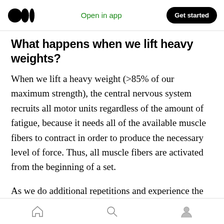Medium app header — Open in app | Get started
What happens when we lift heavy weights?
When we lift a heavy weight (>85% of our maximum strength), the central nervous system recruits all motor units regardless of the amount of fatigue, because it needs all of the available muscle fibers to contract in order to produce the necessary level of force. Thus, all muscle fibers are activated from the beginning of a set.
As we do additional repetitions and experience the onset of fatigue, this causes an increase in
Bottom navigation bar with home, search, and profile icons